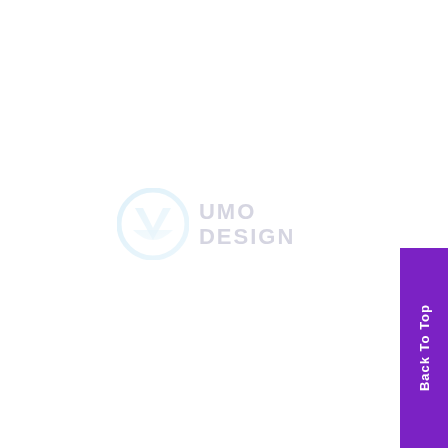[Figure (logo): UMO Design logo — a circular blue gradient icon with a stylized V/U shape, next to bold text reading UMO DESIGN stacked in two lines. The logo is faded/watermark style.]
Back To Top